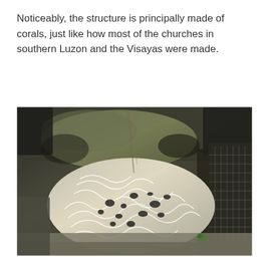Noticeably, the structure is principally made of corals, just like how most of the churches in southern Luzon and the Visayas were made.
[Figure (photo): Close-up photograph of coral stone masonry embedded in a dark rocky wall, showing the characteristic porous and ridged surface texture of fossilized coral used as building material.]